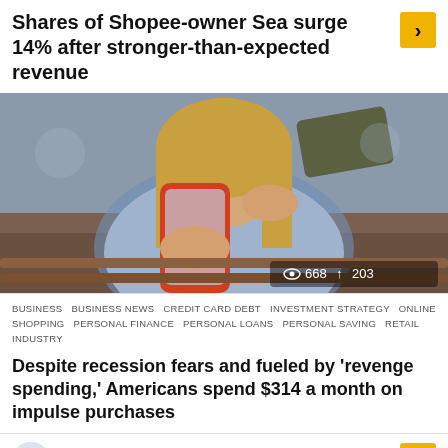Shares of Shopee-owner Sea surge 14% after stronger-than-expected revenue
[Figure (photo): Woman holding a smartphone and a dark credit card, sitting on a bench outdoors, wearing a denim jacket. View count: 668, share count: 203.]
BUSINESS  BUSINESS NEWS  CREDIT CARD DEBT  INVESTMENT STRATEGY  ONLINE SHOPPING  PERSONAL FINANCE  PERSONAL LOANS  PERSONAL SAVING  RETAIL INDUSTRY
Despite recession fears and fueled by 'revenge spending,' Americans spend $314 a month on impulse purchases
by Mohamed Sawah